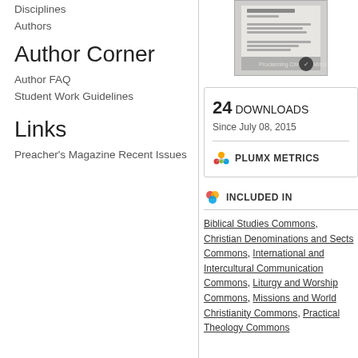Disciplines
Authors
Author Corner
Author FAQ
Student Work Guidelines
Links
Preacher's Magazine Recent Issues
[Figure (photo): Book cover thumbnail of Preacher's Magazine, grayscale image]
24 DOWNLOADS
Since July 08, 2015
PLUMX METRICS
INCLUDED IN
Biblical Studies Commons, Christian Denominations and Sects Commons, International and Intercultural Communication Commons, Liturgy and Worship Commons, Missions and World Christianity Commons, Practical Theology Commons